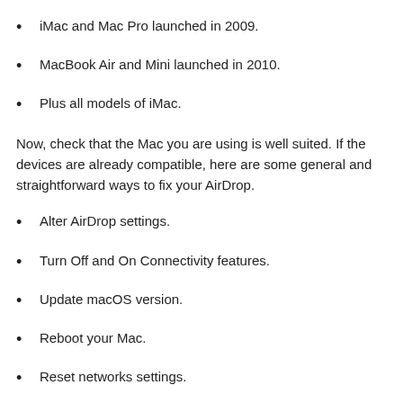iMac and Mac Pro launched in 2009.
MacBook Air and Mini launched in 2010.
Plus all models of iMac.
Now, check that the Mac you are using is well suited. If the devices are already compatible, here are some general and straightforward ways to fix your AirDrop.
Alter AirDrop settings.
Turn Off and On Connectivity features.
Update macOS version.
Reboot your Mac.
Reset networks settings.
Alter AirDrop settings